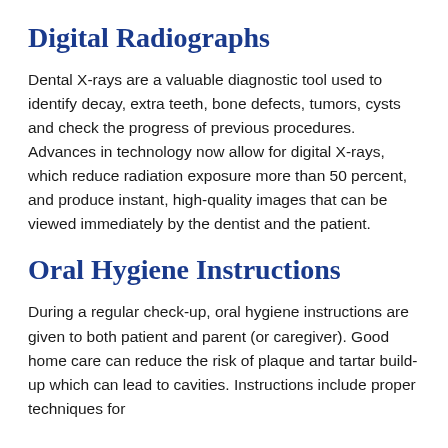Digital Radiographs
Dental X-rays are a valuable diagnostic tool used to identify decay, extra teeth, bone defects, tumors, cysts and check the progress of previous procedures. Advances in technology now allow for digital X-rays, which reduce radiation exposure more than 50 percent, and produce instant, high-quality images that can be viewed immediately by the dentist and the patient.
Oral Hygiene Instructions
During a regular check-up, oral hygiene instructions are given to both patient and parent (or caregiver). Good home care can reduce the risk of plaque and tartar build-up which can lead to cavities. Instructions include proper techniques for